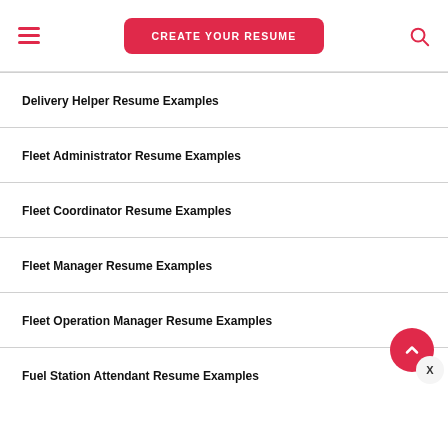CREATE YOUR RESUME
Delivery Helper Resume Examples
Fleet Administrator Resume Examples
Fleet Coordinator Resume Examples
Fleet Manager Resume Examples
Fleet Operation Manager Resume Examples
Fuel Station Attendant Resume Examples